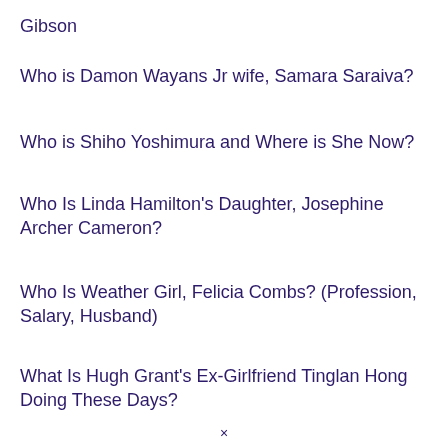Gibson
Who is Damon Wayans Jr wife, Samara Saraiva?
Who is Shiho Yoshimura and Where is She Now?
Who Is Linda Hamilton's Daughter, Josephine Archer Cameron?
Who Is Weather Girl, Felicia Combs? (Profession, Salary, Husband)
What Is Hugh Grant's Ex-Girlfriend Tinglan Hong Doing These Days?
×